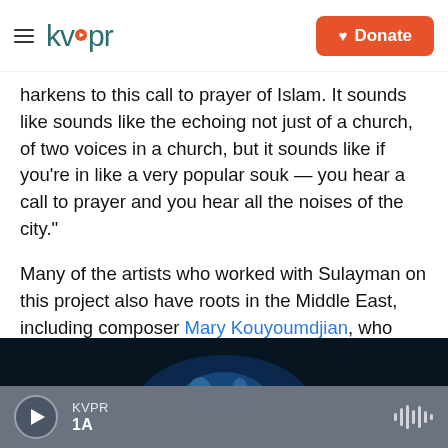kvpr | Donate
harkens to this call to prayer of Islam. It sounds like sounds like the echoing not just of a church, of two voices in a church, but it sounds like if you're in like a very popular souk — you hear a call to prayer and you hear all the noises of the city."
Many of the artists who worked with Sulayman on this project also have roots in the Middle East, including composer Mary Kouyoumdjian, who wrote the new music that weaves in and out between the baroque selections.
[Figure (photo): Dark image with blue glowing figure, partial view at bottom of content area]
KVPR | 1A (audio player bar)